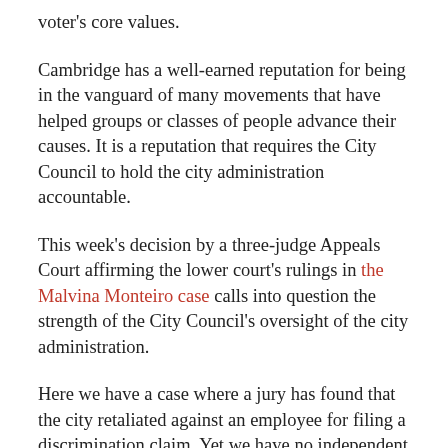voter's core values.
Cambridge has a well-earned reputation for being in the vanguard of many movements that have helped groups or classes of people advance their causes. It is a reputation that requires the City Council to hold the city administration accountable.
This week's decision by a three-judge Appeals Court affirming the lower court's rulings in the Malvina Monteiro case calls into question the strength of the City Council's oversight of the city administration.
Here we have a case where a jury has found that the city retaliated against an employee for filing a discrimination claim. Yet we have no independent review of the city's actions such as we had in the Gates case to determine if they are symptomatic of a wider, systemic issue or a one-time isolated incident. A strong oversight function would want to know this.
Here we have a case where many of the city officials deciding to pursue appeals — at significant taxpayer